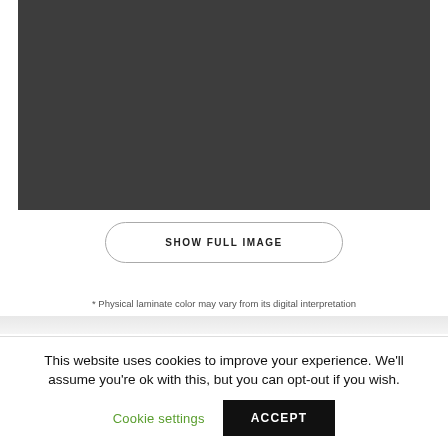[Figure (photo): Dark gray/charcoal colored rectangle representing a laminate color swatch or product image placeholder]
SHOW FULL IMAGE
* Physical laminate color may vary from its digital interpretation
This website uses cookies to improve your experience. We'll assume you're ok with this, but you can opt-out if you wish.
Cookie settings
ACCEPT